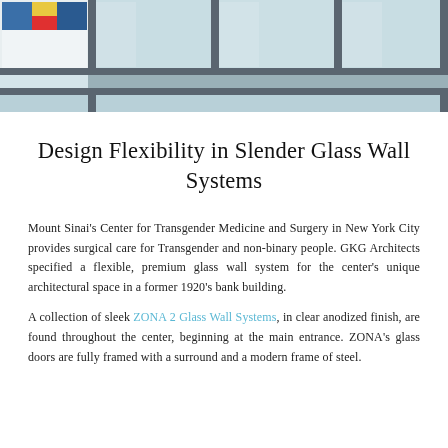[Figure (photo): Photo of a slender glass wall system with aluminum framing, showing multiple glass panels and a colorful artwork visible in the upper left corner. The frames are dark gray/charcoal colored against a light background.]
Design Flexibility in Slender Glass Wall Systems
Mount Sinai’s Center for Transgender Medicine and Surgery in New York City provides surgical care for Transgender and non-binary people. GKG Architects specified a flexible, premium glass wall system for the center’s unique architectural space in a former 1920’s bank building.
A collection of sleek ZONA 2 Glass Wall Systems, in clear anodized finish, are found throughout the center, beginning at the main entrance. ZONA’s glass doors are fully framed with a surround and a modern frame of steel.